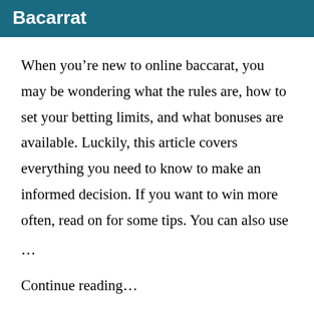Bacarrat
When you’re new to online baccarat, you may be wondering what the rules are, how to set your betting limits, and what bonuses are available. Luckily, this article covers everything you need to know to make an informed decision. If you want to win more often, read on for some tips. You can also use …
Continue reading…